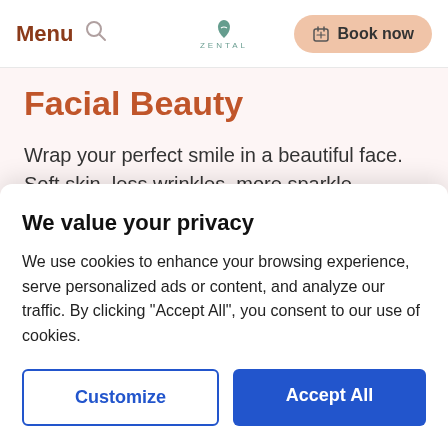Menu | ZENTAL | Book now
Facial Beauty
Wrap your perfect smile in a beautiful face. Soft skin, less wrinkles, more sparkle.
More details →
We value your privacy
We use cookies to enhance your browsing experience, serve personalized ads or content, and analyze our traffic. By clicking "Accept All", you consent to our use of cookies.
Customize | Accept All